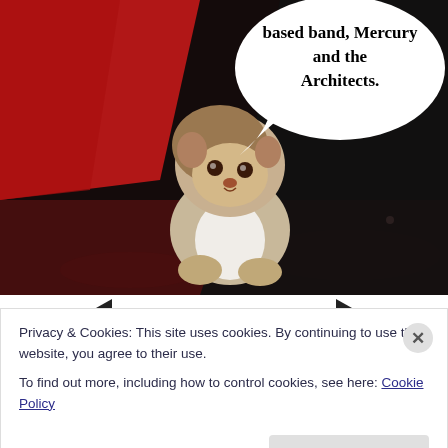[Figure (photo): A hedgehog dressed in a tiny tuxedo with a white shirt and black bow tie, sitting on a dark red/brown surface. A red fabric is visible in the upper left. A large white speech bubble in the upper right contains bold text: 'based band, Mercury and the Architects.']
based band, Mercury and the Architects.
Privacy & Cookies: This site uses cookies. By continuing to use this website, you agree to their use.
To find out more, including how to control cookies, see here: Cookie Policy